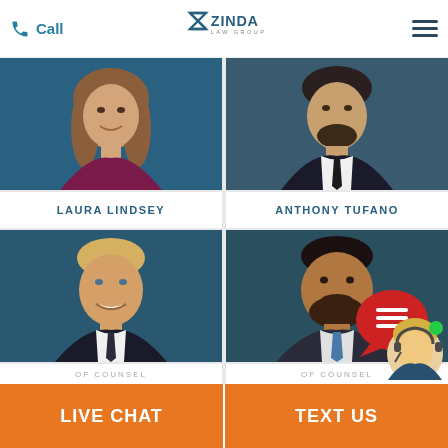Call | ZINDA LAW GROUP | [menu]
[Figure (photo): Professional headshot of Laura Lindsey, woman with long brown hair wearing a dark maroon top, blue background]
[Figure (photo): Professional headshot of Anthony Tufano, man in dark suit with black tie, blue background]
LAURA LINDSEY
ANTHONY TUFANO
[Figure (photo): Professional headshot of Mike Redondo, man in dark suit with dark tie, smiling, blue background]
[Figure (photo): Professional headshot of E. Marvin Romero, man with beard in dark suit with blue tie, blue background]
OF COUNSEL
OF COUNSEL
MIKE REDONDO
E. MARVIN ROMERO
[Figure (illustration): Live chat widget with red speech bubble with chat icon and blonde female avatar with headset and green online indicator]
LIVE CHAT | TEXT US